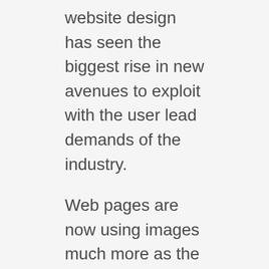website design has seen the biggest rise in new avenues to exploit with the user lead demands of the industry.
Web pages are now using images much more as the current trend for quick and aesthetically pleasing information which can result in much slower page loading times and additional searchable information, both of which are comfortably dealt with by condensing and redirecting